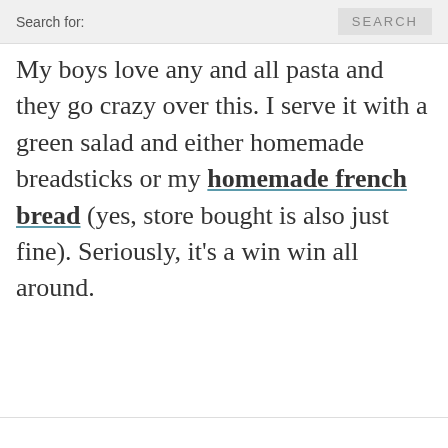Search for:   SEARCH
My boys love any and all pasta and they go crazy over this. I serve it with a green salad and either homemade breadsticks or my homemade french bread (yes, store bought is also just fine). Seriously, it's a win win all around.